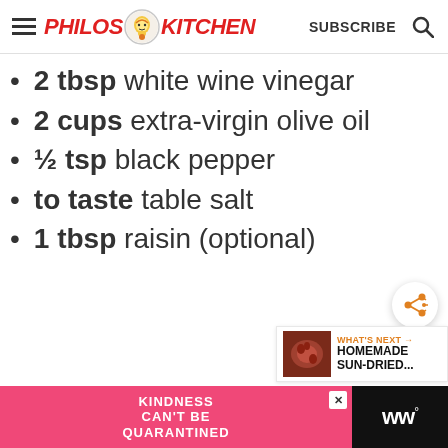Philos Kitchen — SUBSCRIBE
2 tbsp white wine vinegar
2 cups extra-virgin olive oil
½ tsp black pepper
to taste table salt
1 tbsp raisin (optional)
[Figure (other): Share button (orange icon with share symbol)]
[Figure (other): What's Next panel: thumbnail image of sun-dried tomatoes, label 'WHAT'S NEXT →', title 'HOMEMADE SUN-DRIED...']
[Figure (other): Advertisement banner: pink section with text 'KINDNESS CAN'T BE QUARANTINED', close button, black section with 'WW°' logo]